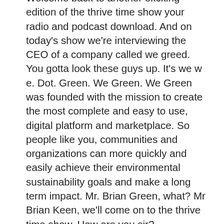Welcome back to another exciting edition of the thrive time show your radio and podcast download. And on today's show we're interviewing the CEO of a company called we greed. You gotta look these guys up. It's we w e. Dot. Green. We Green. We Green was founded with the mission to create the most complete and easy to use, digital platform and marketplace. So people like you, communities and organizations can more quickly and easily achieve their environmental sustainability goals and make a long term impact. Mr. Brian Green, what? Mr Brian Keen, we'll come on to the thrive time show. How are you sir?
I'm doing great and it's great to be here. Thanks so much for having me.
Do you ever thinking about a change your name to Brian Keane? I mean, think about that, that they would be all in.
If not, if not, if it's not as, it's not, not to say it hasn't crossed my mind. I gotta tell Ya.
Okay. All right. Well, I am excited to have you on the show and